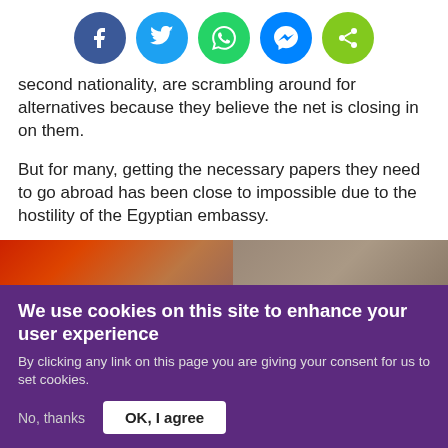[Figure (other): Social sharing buttons: Facebook (blue), Twitter (light blue), WhatsApp (green), Messenger (blue), Share (green)]
second nationality, are scrambling around for alternatives because they believe the net is closing in on them.
But for many, getting the necessary papers they need to go abroad has been close to impossible due to the hostility of the Egyptian embassy.
[Figure (photo): Partial photo showing two people, partially cropped at top]
We use cookies on this site to enhance your user experience
By clicking any link on this page you are giving your consent for us to set cookies.
No, thanks   OK, I agree